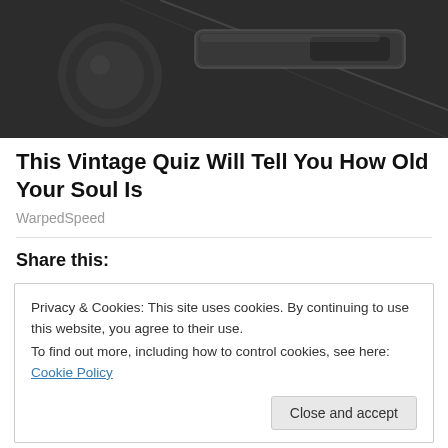[Figure (photo): Close-up photo of dark grey/black car interior showing a door handle and leather trim panel details.]
This Vintage Quiz Will Tell You How Old Your Soul Is
WarpedSpeed
Share this:
Privacy & Cookies: This site uses cookies. By continuing to use this website, you agree to their use.
To find out more, including how to control cookies, see here: Cookie Policy